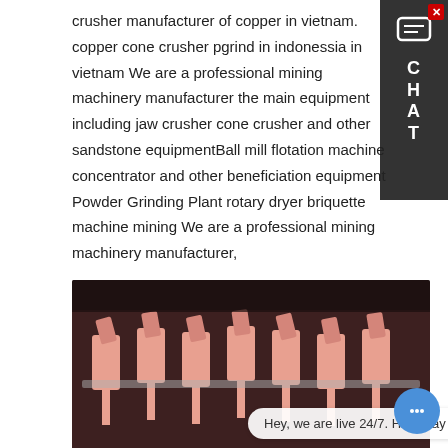crusher manufacturer of copper in vietnam. copper cone crusher pgrind in indonessia in vietnam We are a professional mining machinery manufacturer the main equipment including jaw crusher cone crusher and other sandstone equipmentBall mill flotation machine concentrator and other beneficiation equipment Powder Grinding Plant rotary dryer briquette machine mining We are a professional mining machinery manufacturer,
Learn More
[Figure (photo): Photo of pink/red colored industrial crusher parts or hammers arranged in a row inside a machine]
Hey, we are live 24/7. How may I help you?